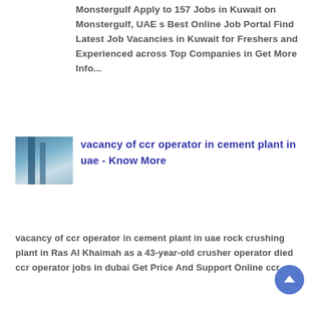Monstergulf Apply to 157 Jobs in Kuwait on Monstergulf, UAE s Best Online Job Portal Find Latest Job Vacancies in Kuwait for Freshers and Experienced across Top Companies in Get More Info...
[Figure (photo): Small thumbnail image of an industrial/cement plant structure with blue steel framework]
vacancy of ccr operator in cement plant in uae - Know More
vacancy of ccr operator in cement plant in uae rock crushing plant in Ras Al Khaimah as a 43-year-old crusher operator died ccr operator jobs in dubai Get Price And Support Online ccr